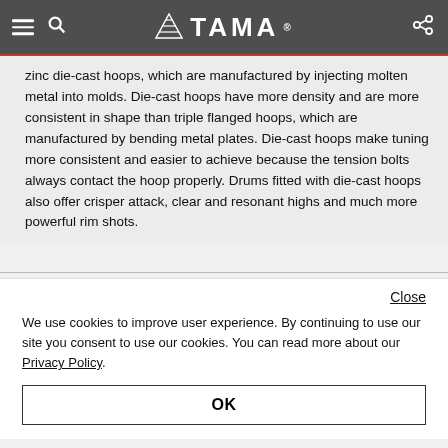TAMA (navigation bar with hamburger, search, logo, share icons)
zinc die-cast hoops, which are manufactured by injecting molten metal into molds. Die-cast hoops have more density and are more consistent in shape than triple flanged hoops, which are manufactured by bending metal plates. Die-cast hoops make tuning more consistent and easier to achieve because the tension bolts always contact the hoop properly. Drums fitted with die-cast hoops also offer crisper attack, clear and resonant highs and much more powerful rim shots.
Close
We use cookies to improve user experience. By continuing to use our site you consent to use our cookies. You can read more about our Privacy Policy.
OK